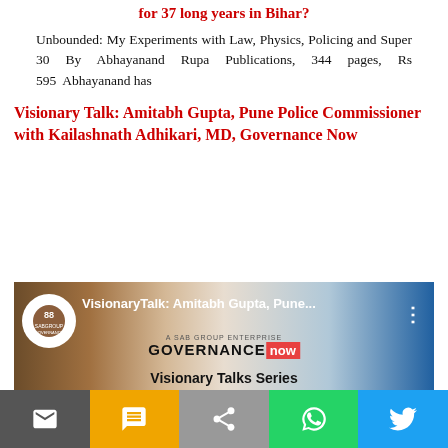for 37 long years in Bihar?
Unbounded: My Experiments with Law, Physics, Policing and Super 30 By Abhayanand Rupa Publications, 344 pages, Rs 595  Abhayanand has
Visionary Talk: Amitabh Gupta, Pune Police Commissioner with Kailashnath Adhikari, MD, Governance Now
[Figure (screenshot): YouTube video thumbnail for Visionary Talk: Amitabh Gupta, Pune... featuring SABGroup Governance Now logo and Visionary Talks Series text]
[Figure (infographic): Social share bar with email, SMS, share, WhatsApp, and Twitter icons]